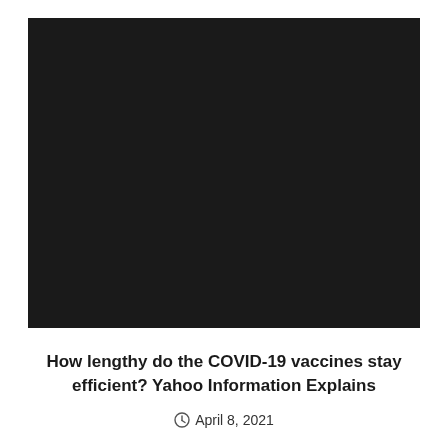[Figure (photo): A dark/black image placeholder representing a video or photo related to COVID-19 vaccines]
How lengthy do the COVID-19 vaccines stay efficient? Yahoo Information Explains
April 8, 2021